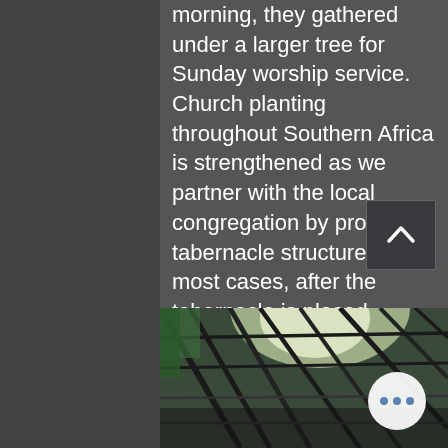morning, they gathered under a larger tree for Sunday worship service. Church planting throughout Southern Africa is strengthened as we partner with the local congregation by providing tabernacle structures. In most cases, after the tabernacle is placed church experiences a swell of growth as curious members of the community come to look at the building and find Jesus.
[Figure (photo): Interior view of a rustic tabernacle structure with wooden poles, thatched/corrugated roof, showing light coming through gaps. Bottom portion of page.]